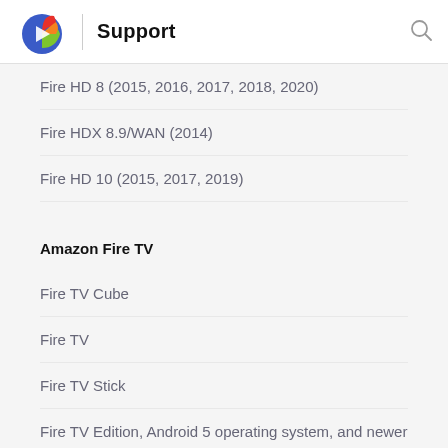Support
Fire HD 8 (2015, 2016, 2017, 2018, 2020)
Fire HDX 8.9/WAN (2014)
Fire HD 10 (2015, 2017, 2019)
Amazon Fire TV
Fire TV Cube
Fire TV
Fire TV Stick
Fire TV Edition, Android 5 operating system, and newer